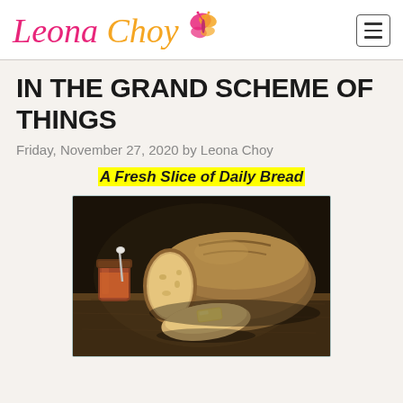Leona Choy
IN THE GRAND SCHEME OF THINGS
Friday, November 27, 2020 by Leona Choy
A Fresh Slice of Daily Bread
[Figure (photo): Dark moody photo of a rustic sourdough bread loaf, sliced, with a pat of butter on one slice, and a jar of jam with a spoon in the background, arranged on a wooden board]